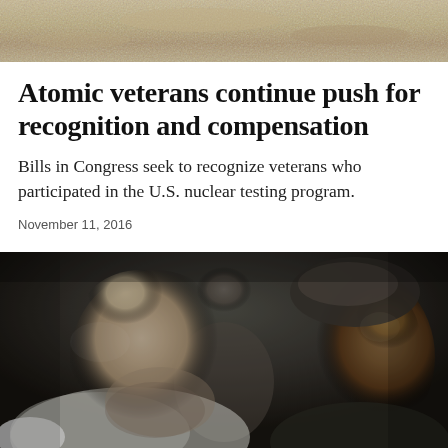[Figure (photo): Top portion of photo showing sandy/rocky texture, appears to be partial image cropped at top of page]
Atomic veterans continue push for recognition and compensation
Bills in Congress seek to recognize veterans who participated in the U.S. nuclear testing program.
November 11, 2016
[Figure (photo): Two men facing each other: a bald man with facial stubble on the left and Barack Obama on the right, with a third person visible in the blurred background]